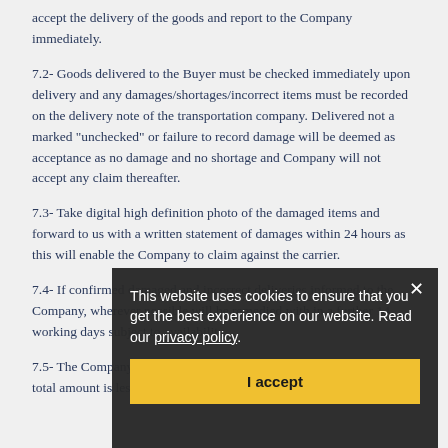accept the delivery of the goods and report to the Company immediately.
7.2- Goods delivered to the Buyer must be checked immediately upon delivery and any damages/shortages/incorrect items must be recorded on the delivery note of the transportation company. Delivered not a marked "unchecked" or failure to record damage will be deemed as acceptance as no damage and no shortage and Company will not accept any claim thereafter.
7.3- Take digital high definition photo of the damaged items and forward to us with a written statement of damages within 24 hours as this will enable the Company to claim against the carrier.
7.4- If confirmed damaged and incorrect deliveries informed to the Company, wherever possible will be remedied with in a further 14 working days subject to availability.
7.5- The Company reserves right not to replace damaged tiles if the total amount is less than 5% of the total order.
[Figure (screenshot): Cookie consent banner overlay with dark background, text reading 'This website uses cookies to ensure that you get the best experience on our website. Read our privacy policy.' with an X close button and a yellow 'I accept' button.]